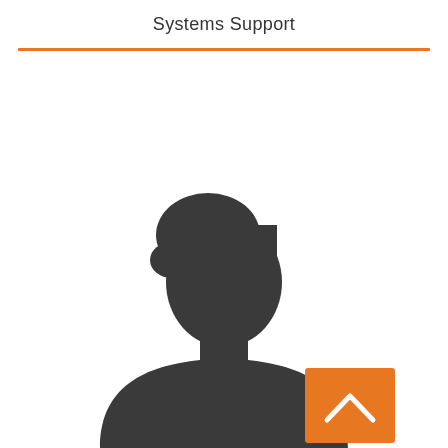Systems Support
[Figure (illustration): Silhouette placeholder image of a person (head and shoulders), shown in dark gray, centered in the lower half of the page. An orange square button with a white upward-pointing chevron is overlaid in the lower right area.]